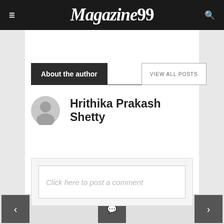Magazine99
About the author
VIEW ALL POSTS
Hrithika Prakash Shetty
Click here to post a comment
< [comment icon] >